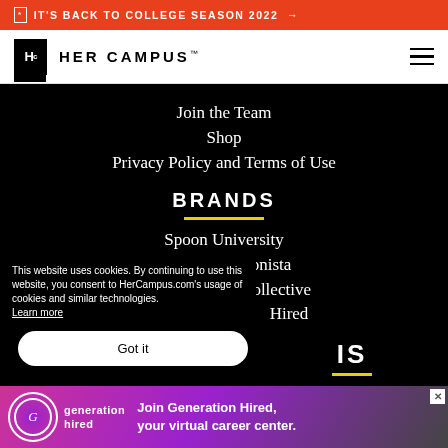🔲 IT'S BACK TO COLLEGE SEASON 2022 →
[Figure (logo): Her Campus logo with Hc icon and text HER CAMPUS with hamburger menu icon]
Join the Team
Shop
Privacy Policy and Terms of Use
BRANDS
Spoon University
College Fashionista
Collective
Hired
This website uses cookies. By continuing to use this website, you consent to HerCampus.com's usage of cookies and similar technologies. Learn more
[Figure (other): Got it button - white rounded rectangle button]
IS
[Figure (other): Generation Hired advertisement banner - Join Generation Hired, your virtual career center]